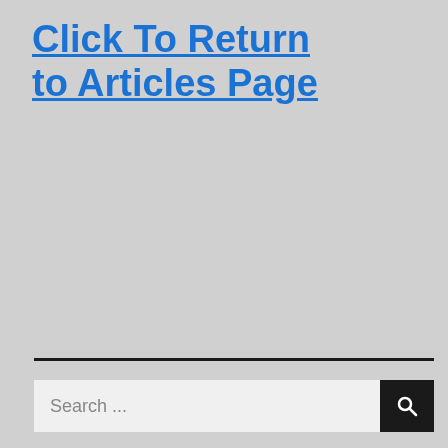Click To Return to Articles Page
[Figure (other): Green Print Friendly button with printer icon]
[Figure (other): Horizontal black divider line]
[Figure (other): Search bar with text input and search button]